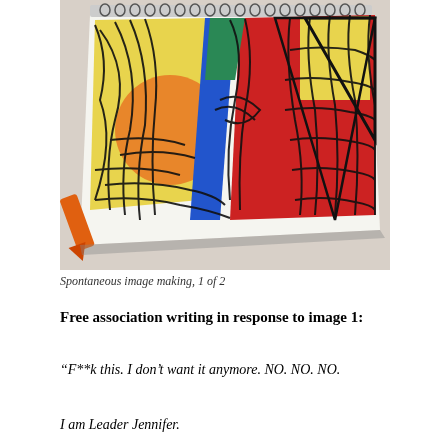[Figure (photo): A spiral-bound sketchbook lying on a table with a colorful, heavily scribbled crayon drawing. The drawing features chaotic black scribbles over yellow, red, orange, blue, and other colors. An orange crayon lies to the side of the sketchbook.]
Spontaneous image making, 1 of 2
Free association writing in response to image 1:
“F**k this. I don’t want it anymore. NO. NO. NO.
I am Leader Jennifer.